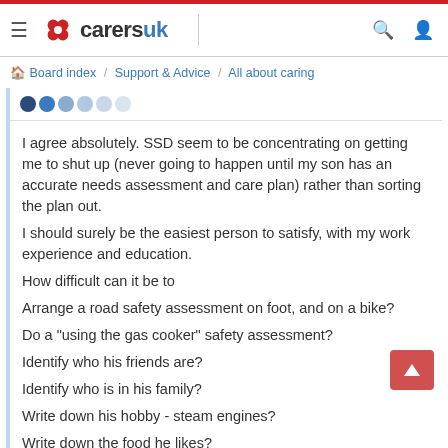carersuk — navigation header with Board index / Support & Advice / All about caring breadcrumb
[Figure (other): User avatar represented as a row of six gradient circles from dark blue to light gray]
I agree absolutely. SSD seem to be concentrating on getting me to shut up (never going to happen until my son has an accurate needs assessment and care plan) rather than sorting the plan out.
I should surely be the easiest person to satisfy, with my work experience and education.
How difficult can it be to
Arrange a road safety assessment on foot, and on a bike?
Do a "using the gas cooker" safety assessment?
Identify who his friends are?
Identify who is in his family?
Write down his hobby - steam engines?
Write down the food he likes?

So far, about 30 SSD staff have been involved, and 1800